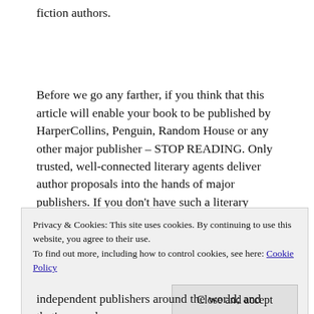fiction authors.
Before we go any farther, if you think that this article will enable your book to be published by HarperCollins, Penguin, Random House or any other major publisher – STOP READING. Only trusted, well-connected literary agents deliver author proposals into the hands of major publishers. If you don't have such a literary agent, or a close friend or relative in the industry, you will NOT have a proposal read by a major
Privacy & Cookies: This site uses cookies. By continuing to use this website, you agree to their use.
To find out more, including how to control cookies, see here: Cookie Policy
Close and accept
independent publishers around the world; and that's a good